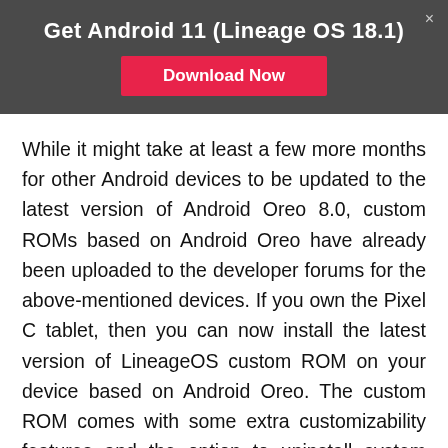Get Android 11 (Lineage OS 18.1)
[Figure (other): Download Now button — red/pink button with white bold text]
While it might take at least a few more months for other Android devices to be updated to the latest version of Android Oreo 8.0, custom ROMs based on Android Oreo have already been uploaded to the developer forums for the above-mentioned devices. If you own the Pixel C tablet, then you can now install the latest version of LineageOS custom ROM on your device based on Android Oreo. The custom ROM comes with some extra customizability features and the option to uninstall system apps from Google.